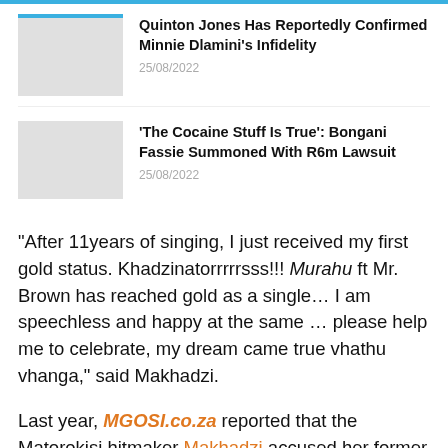Quinton Jones Has Reportedly Confirmed Minnie Dlamini’s Infidelity
25/08/2022
‘The Cocaine Stuff Is True’: Bongani Fassie Summoned With R6m Lawsuit
25/08/2022
“After 11years of singing, I just received my first gold status. Khadzinatorrrrrsss!!! Murahu ft Mr. Brown has reached gold as a single… I am speechless and happy at the same … please help me to celebrate, my dream came true vhathu vhanga,” said Makhadzi.
Last year, MGOSI.co.za reported that the Matorokisi hitmaker Makhadzi accused her former manager Rita Dee of claiming her money (royalties) from her album